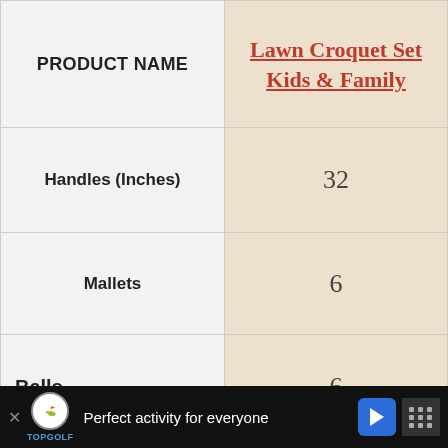|  | Lawn Croquet Set Kids & Family |
| --- | --- |
| PRODUCT NAME | Lawn Croquet Set Kids & Family |
| Handles (Inches) | 32 |
| Mallets | 6 |
| Balls | 6 |
| Wickets | 9 |
| BUY NOW | Buy from Amazon |
| PRODUCT NAME | Other Great Recommendations |
Perfect activity for everyone — Topgolf